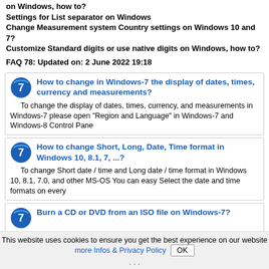on Windows, how to?
Settings for List separator on Windows
Change Measurement system Country settings on Windows 10 and 7?
Customize Standard digits or use native digits on Windows, how to?
FAQ 78: Updated on: 2 June 2022 19:18
How to change in Windows-7 the display of dates, times, currency and measurements?
To change the display of dates, times, currency, and measurements in Windows-7 please open "Region and Language" in Windows-7 and Windows-8 Control Pane
How to change Short, Long, Date, Time format in Windows 10, 8.1, 7, ...?
To change Short date / time and Long date / time format in Windows 10, 8.1, 7.0, and other MS-OS You can easy Select the date and time formats on every
Burn a CD or DVD from an ISO file on Windows-7?
When you want burn a CD or DVD from an ISO file on you
This website uses cookies to ensure you get the best experience on our website more Infos & Privacy Policy  OK